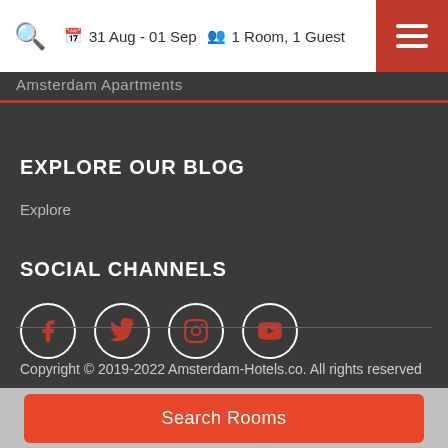31 Aug - 01 Sep   1 Room, 1 Guest
Amsterdam Apartments
EXPLORE OUR BLOG
Explore
SOCIAL CHANNELS
[Figure (infographic): Four social media icons in white circles: Facebook, Twitter, Instagram, YouTube]
Copyright © 2019-2022 Amsterdam-Hotels.co. All rights reserved
Search Rooms